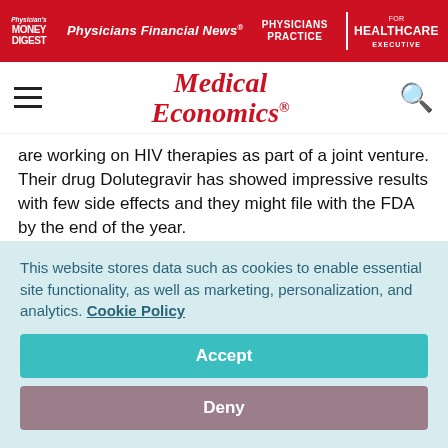Physician's Money Digest | Physicians Financial News | Physicians Practice | Healthcare Executive
[Figure (logo): Medical Economics masthead logo in red italic serif font]
are working on HIV therapies as part of a joint venture. Their drug Dolutegravir has showed impressive results with few side effects and they might file with the FDA by the end of the year.
Merck's drug is at a disadvantage because it is a twice-daily drug, while Truvada would be once a day. Another Merck drug,
This website stores data such as cookies to enable essential site functionality, as well as marketing, personalization, and analytics. Cookie Policy
Accept
Deny